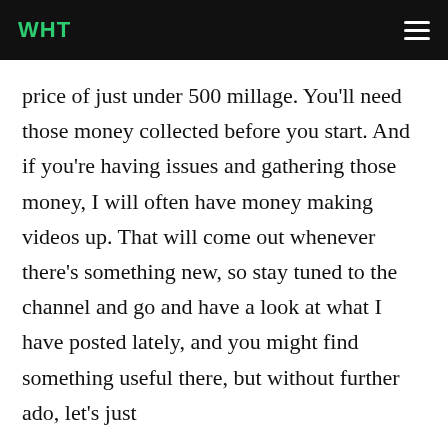WHT
price of just under 500 millage. You'll need those money collected before you start. And if you're having issues and gathering those money, I will often have money making videos up. That will come out whenever there's something new, so stay tuned to the channel and go and have a look at what I have posted lately, and you might find something useful there, but without further ado, let's just